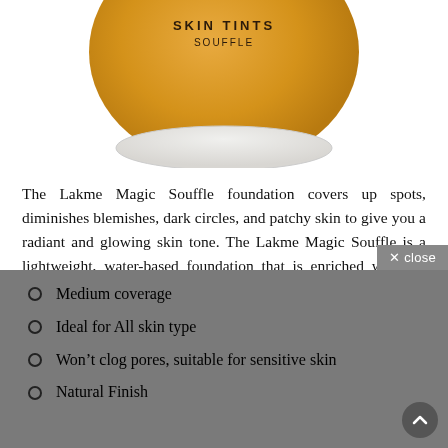[Figure (photo): Bottom half of a golden/yellow round bowl-shaped cosmetic jar for Lakme Skin Tints Souffle, with a white lid base visible at the bottom.]
The Lakme Magic Souffle foundation covers up spots, diminishes blemishes, dark circles, and patchy skin to give you a radiant and glowing skin tone. The Lakme Magic Souffle is a lightweight, water-based foundation that is enriched with the goodness of sunscreen, cucumber extracts, and Vitamin E. The Lakme Magic Souffle nourishes and refreshes your skin while giving you a spot-free radiance.
Medium coverage
Ideal for All skin type
Won’t clog pores, suitable for sensitive skin
Natural Finish